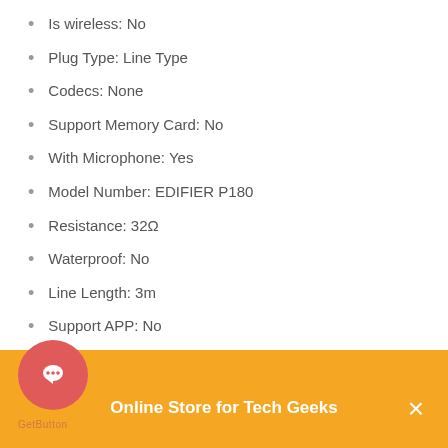Is wireless: No
Plug Type: Line Type
Codecs: None
Support Memory Card: No
With Microphone: Yes
Model Number: EDIFIER P180
Resistance: 32Ω
Waterproof: No
Line Length: 3m
Support APP: No
CABLE LENGTH: 2m
Online Store for Tech Geeks